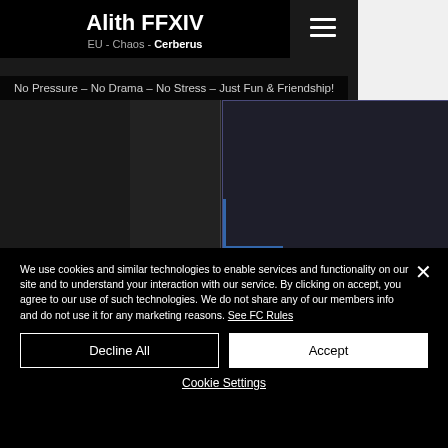Alith FFXIV
EU - Chaos - Cerberus
No Pressure - No Drama - No Stress - Just Fun & Friendship!
[Figure (screenshot): Dark website screenshot showing game-related images with a purple-bordered center panel and navigation dots]
2009 - 2021  Alith is an english speaking,
We use cookies and similar technologies to enable services and functionality on our site and to understand your interaction with our service. By clicking on accept, you agree to our use of such technologies. We do not share any of our members info and do not use it for any marketing reasons. See FC Rules
Decline All
Accept
Cookie Settings